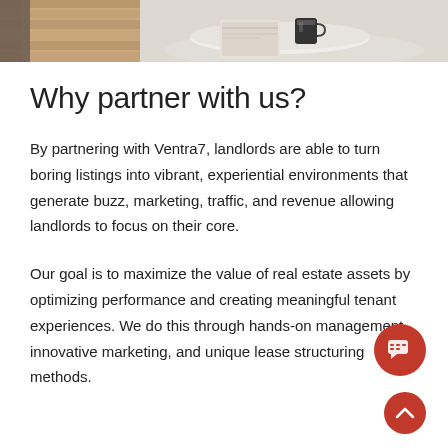[Figure (photo): Two partial interior photos side by side at the top of the page: left shows a wooden floor and partial view of a chair, right shows a coffee table with magazines and a mug on a light rug.]
Why partner with us?
By partnering with Ventra7, landlords are able to turn boring listings into vibrant, experiential environments that generate buzz, marketing, traffic, and revenue allowing landlords to focus on their core.
Our goal is to maximize the value of real estate assets by optimizing performance and creating meaningful tenant experiences. We do this through hands-on management, innovative marketing, and unique lease structuring methods.